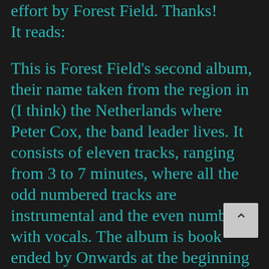effort by Forest Field. Thanks! It reads:
This is Forest Field's second album, their name taken from the region in (I think) the Netherlands where Peter Cox, the band leader lives. It consists of eleven tracks, ranging from 3 to 7 minutes, where all the odd numbered tracks are instrumental and the even number with vocals. The album is book ended by Onwards at the beginning and And Upwards at the end. This is a simple instrumental piece played on both tracks that benefits from the greater production on the latter.